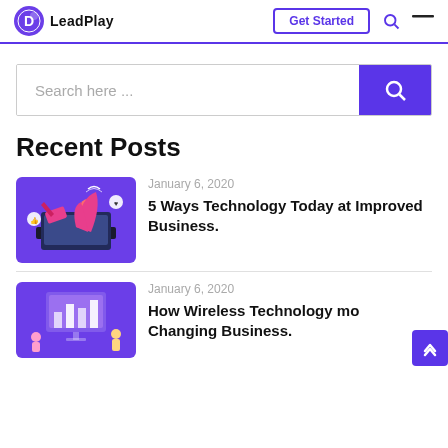LeadPlay — navigation bar with Get Started button, search icon, and menu icon
[Figure (screenshot): LeadPlay logo: purple circle with a 'D' play-button icon, followed by bold text 'LeadPlay']
Search here ...
Recent Posts
[Figure (illustration): Purple background illustration of a person emerging from a laptop, holding a megaphone with social media icons around them]
January 6, 2020
5 Ways Technology Today at Improved Business.
[Figure (illustration): Purple background illustration related to wireless technology and business, partially visible]
January 6, 2020
How Wireless Technology mo
Changing Business.